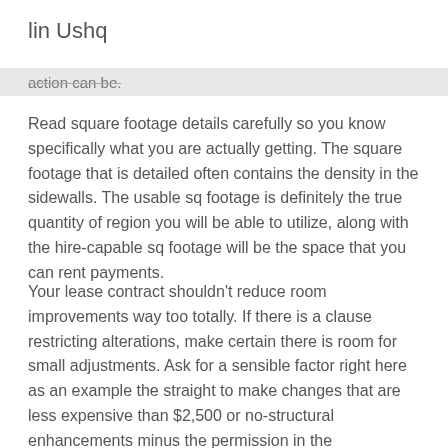lin Ushq
action can be.
Read square footage details carefully so you know specifically what you are actually getting. The square footage that is detailed often contains the density in the sidewalls. The usable sq footage is definitely the true quantity of region you will be able to utilize, along with the hire-capable sq footage will be the space that you can rent payments.
Your lease contract shouldn't reduce room improvements way too totally. If there is a clause restricting alterations, make certain there is room for small adjustments. Ask for a sensible factor right here as an example the straight to make changes that are less expensive than $2,500 or no-structural enhancements minus the permission in the